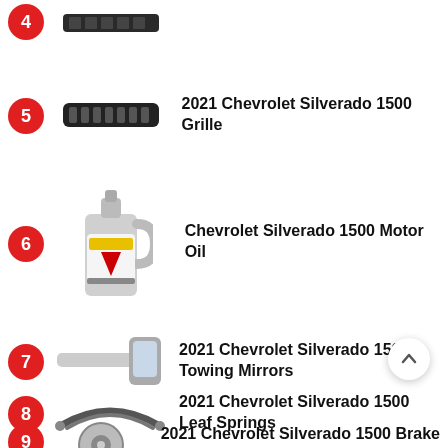2022 Chevrolet Silverado 1500 Side Steps
2021 Chevrolet Silverado 1500 Grille
Chevrolet Silverado 1500 Motor Oil
2021 Chevrolet Silverado 1500 Towing Mirrors
2021 Chevrolet Silverado 1500 Leaf Springs
2021 Chevrolet Silverado 1500 Brake Rotors